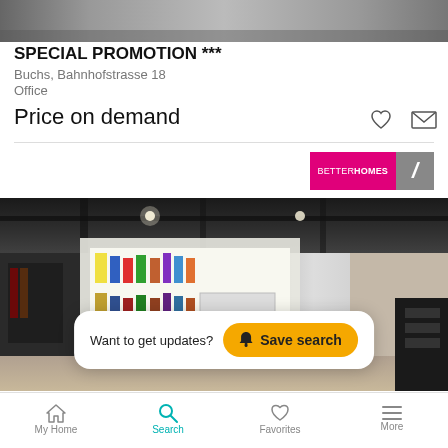[Figure (photo): Top cropped photo of a building or interior, partially visible]
SPECIAL PROMOTION ***
Buchs, Bahnhofstrasse 18
Office
Price on demand
[Figure (logo): BetterHomes logo with pink background and gray slash logo]
[Figure (photo): Interior photo of a salon or office space with shelving units and products]
Want to get updates?
Save search
My Home  Search  Favorites  More